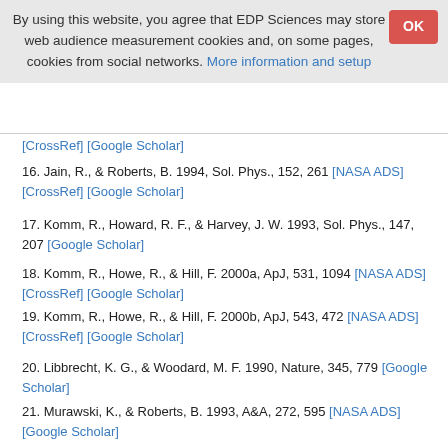By using this website, you agree that EDP Sciences may store web audience measurement cookies and, on some pages, cookies from social networks. More information and setup
16. Jain, R., & Roberts, B. 1994, Sol. Phys., 152, 261 [NASA ADS] [CrossRef] [Google Scholar]
17. Komm, R., Howard, R. F., & Harvey, J. W. 1993, Sol. Phys., 147, 207 [Google Scholar]
18. Komm, R., Howe, R., & Hill, F. 2000a, ApJ, 531, 1094 [NASA ADS] [CrossRef] [Google Scholar]
19. Komm, R., Howe, R., & Hill, F. 2000b, ApJ, 543, 472 [NASA ADS] [CrossRef] [Google Scholar]
20. Libbrecht, K. G., & Woodard, M. F. 1990, Nature, 345, 779 [Google Scholar]
21. Murawski, K., & Roberts, B. 1993, A&A, 272, 595 [NASA ADS] [Google Scholar]